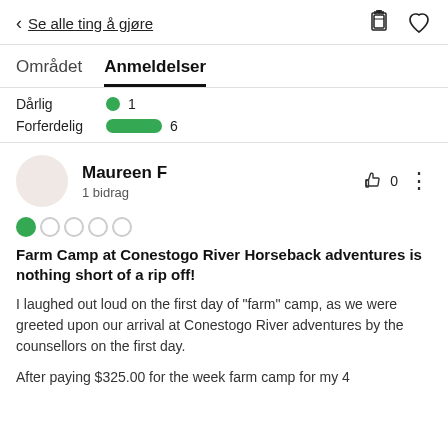< Se alle ting å gjøre
Området   Anmeldelser
Dårlig  1
Forferdelig  6
Maureen F
1 bidrag
[Figure (other): 1 out of 5 circle rating: one filled green circle and four empty circles]
Farm Camp at Conestogo River Horseback adventures is nothing short of a rip off!
I laughed out loud on the first day of "farm" camp, as we were greeted upon our arrival at Conestogo River adventures by the counsellors on the first day.
After paying $325.00 for the week farm camp for my 4